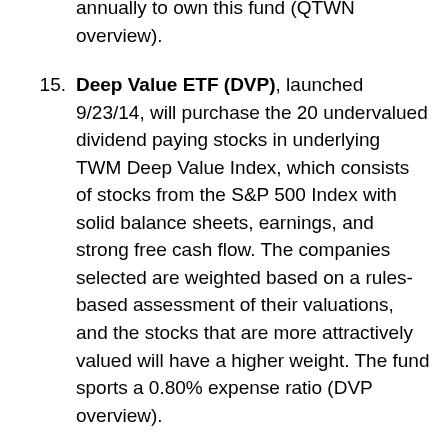annually to own this fund (QTWN overview).
Deep Value ETF (DVP), launched 9/23/14, will purchase the 20 undervalued dividend paying stocks in underlying TWM Deep Value Index, which consists of stocks from the S&P 500 Index with solid balance sheets, earnings, and strong free cash flow. The companies selected are weighted based on a rules-based assessment of their valuations, and the stocks that are more attractively valued will have a higher weight. The fund sports a 0.80% expense ratio (DVP overview).
Source EURO STOXX 50 ETF (ESTX), launched 9/23/14, will invest in the 50 stocks in Europe's leading blue chip index. Twelve Eurozone countries are represented. Source is an